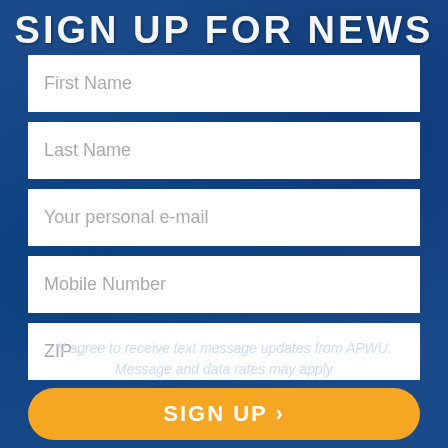SIGN UP FOR NEWS
First Name
Last Name
Your personal e-mail
Mobile Number
ZIP
*I agree to receive text message updates from APWU. Message and data rates may apply
SIGN UP ›